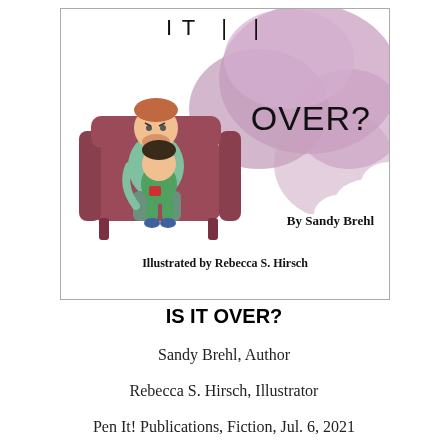[Figure (illustration): Book cover of 'Is It Over?' showing a man and child sitting in an armchair, with purple cloud-shaped speech bubble containing 'OVER?' in hand-lettered text. 'By Sandy Brehl' and 'Illustrated by Rebecca S. Hirsch' printed on cover.]
IS IT OVER?
Sandy Brehl, Author
Rebecca S. Hirsch, Illustrator
Pen It! Publications, Fiction, Jul. 6, 2021